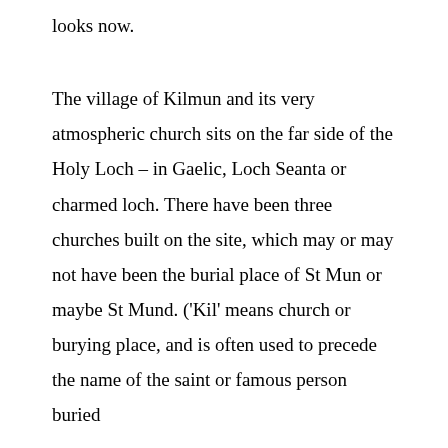looks now.
The village of Kilmun and its very atmospheric church sits on the far side of the Holy Loch – in Gaelic, Loch Seanta or charmed loch. There have been three churches built on the site, which may or may not have been the burial place of St Mun or maybe St Mund. ('Kil' means church or burying place, and is often used to precede the name of the saint or famous person buried